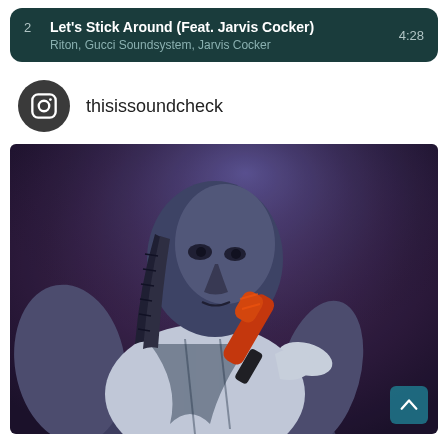2  Let's Stick Around (Feat. Jarvis Cocker)  4:28
Riton, Gucci Soundsystem, Jarvis Cocker
thisissoundcheck
[Figure (photo): A performer on stage holding an orange microphone, with braided hair and a torn sleeveless white top, lit with purple/blue stage lighting against a dark background.]